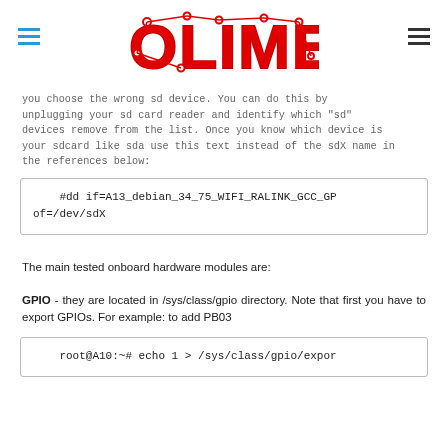OLIMEX (logo)
you choose the wrong sd device. You can do this by unplugging your sd card reader and identify which "sd" devices remove from the list. Once you know which device is your sdcard like sda use this text instead of the sdX name in the references below:
#dd if=A13_debian_34_75_WIFI_RALINK_GCC_GP of=/dev/sdX
The main tested onboard hardware modules are:
GPIO - they are located in /sys/class/gpio directory. Note that first you have to export GPIOs. For example: to add PB03
root@A10:~# echo 1 > /sys/class/gpio/expor